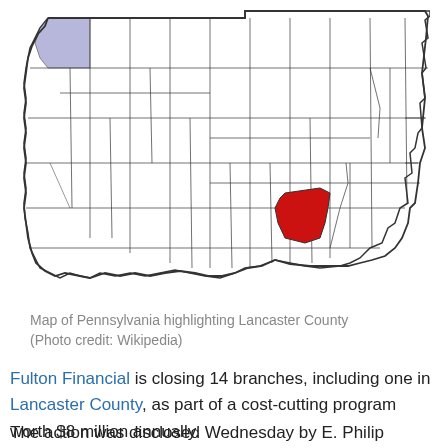[Figure (map): Map of Pennsylvania with county borders showing all counties as white/light outlines, with Lancaster County highlighted in red in the south-central/southeastern region, and a small area in the top-left corner (Erie County area) highlighted in light blue/purple.]
Map of Pennsylvania highlighting Lancaster County (Photo credit: Wikipedia)
Fulton Financial is closing 14 branches, including one in Lancaster County, as part of a cost-cutting program worth $8 million annually.
The action was disclosed Wednesday by E. Philip Wenger, chairman, president and chief executive officer.